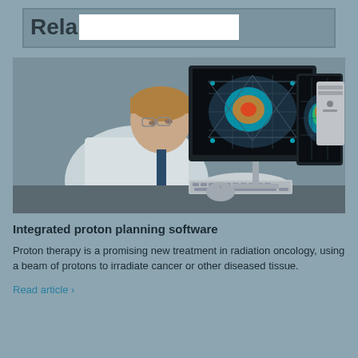Rela[redacted]
[Figure (photo): A medical professional in a white lab coat sitting at a computer workstation, viewing colorful radiation treatment planning software on dual monitors showing brain scan imagery with colorful dose maps.]
Integrated proton planning software
Proton therapy is a promising new treatment in radiation oncology, using a beam of protons to irradiate cancer or other diseased tissue.
Read article ›